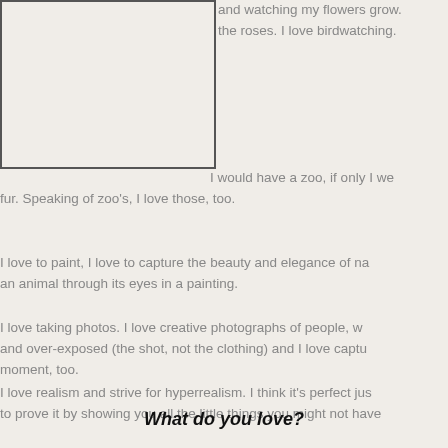[Figure (other): A rectangular image placeholder with a border, partially visible in the top-left corner of the page.]
and watching my flowers grow. the roses. I love birdwatching.
I would have a zoo, if only I were fur. Speaking of zoo's, I love those, too.
I love to paint, I love to capture the beauty and elegance of na an animal through its eyes in a painting.
I love taking photos. I love creative photographs of people, w and over-exposed (the shot, not the clothing) and I love captu moment, too.
I love realism and strive for hyperrealism. I think it's perfect jus to prove it by showing you all the little things you might not have
What do you love?